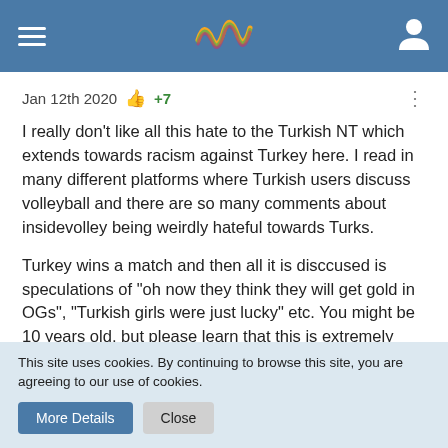[Figure (logo): Website header bar with hamburger menu icon, colorful wave logo, and user profile icon on a steel blue background]
Jan 12th 2020 👍+7
I really don't like all this hate to the Turkish NT which extends towards racism against Turkey here. I read in many different platforms where Turkish users discuss volleyball and there are so many comments about insidevolley being weirdly hateful towards Turks.
Turkey wins a match and then all it is disccused is speculations of "oh now they think they will get gold in OGs", "Turkish girls were just lucky" etc. You might be 10 years old, but please learn that this is extremely rude and disrespectful. If you want to learn how to be a good sports supporter, please check German Volleyball Federation's last post, where they simply congratulate their
This site uses cookies. By continuing to browse this site, you are agreeing to our use of cookies.
More Details
Close